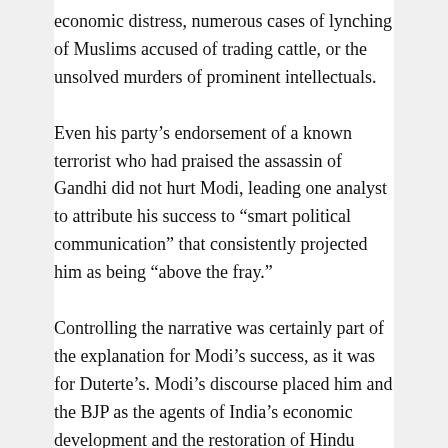economic distress, numerous cases of lynching of Muslims accused of trading cattle, or the unsolved murders of prominent intellectuals.
Even his party's endorsement of a known terrorist who had praised the assassin of Gandhi did not hurt Modi, leading one analyst to attribute his success to “smart political communication” that consistently projected him as being “above the fray.”
Controlling the narrative was certainly part of the explanation for Modi’s success, as it was for Duterte’s. Modi’s discourse placed him and the BJP as the agents of India’s economic development and the restoration of Hindu civilization’s ancient greatness. Duterte combined an earthy discourse that many saw as refreshingly free of the usual liberal democratic